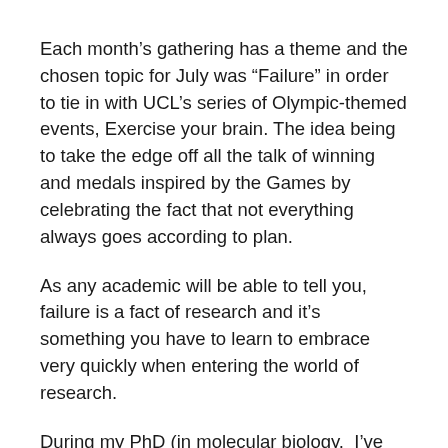Each month's gathering has a theme and the chosen topic for July was “Failure” in order to tie in with UCL’s series of Olympic-themed events, Exercise your brain. The idea being to take the edge off all the talk of winning and medals inspired by the Games by celebrating the fact that not everything always goes according to plan.
As any academic will be able to tell you, failure is a fact of research and it’s something you have to learn to embrace very quickly when entering the world of research.
During my PhD (in molecular biology,  I’ve failed to do any number of things: sometimes because I make mistakes, sometimes just because science can be a very fickle friend and doesn’t always do what you expect it to.